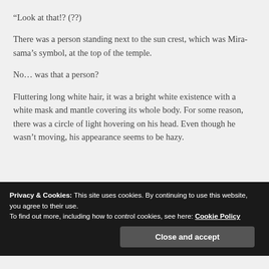“Look at that!? (??)
There was a person standing next to the sun crest, which was Mira-sama’s symbol, at the top of the temple.
No… was that a person?
Fluttering long white hair, it was a bright white existence with a white mask and mantle covering its whole body. For some reason, there was a circle of light hovering on his head. Even though he wasn’t moving, his appearance seems to be hazy.
Privacy & Cookies: This site uses cookies. By continuing to use this website, you agree to their use.
To find out more, including how to control cookies, see here: Cookie Policy
Close and accept